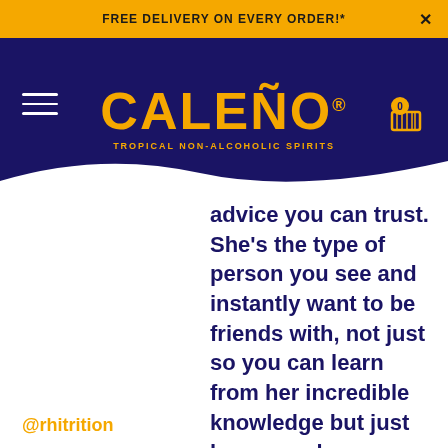FREE DELIVERY ON EVERY ORDER!*
[Figure (logo): CALEÑO tropical non-alcoholic spirits logo in gold on navy background with wavy bottom edge, hamburger menu icon on left, shopping cart icon on right]
advice you can trust. She's the type of person you see and instantly want to be friends with, not just so you can learn from her incredible knowledge but just because she oozes wonderfulness.
@rhitrition